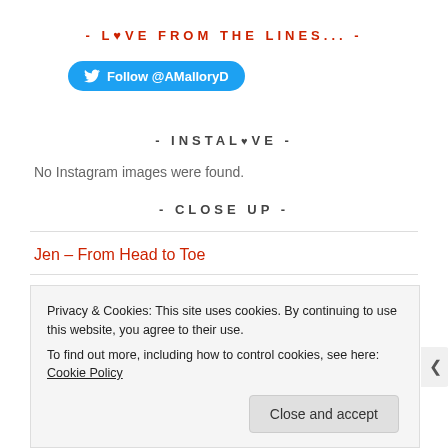- L♥VE FROM THE LINES... -
[Figure (other): Twitter Follow button for @AMalloryD with Twitter bird icon on blue background]
- INSTAL♥VE -
No Instagram images were found.
- CLOSE UP -
Jen – From Head to Toe
Privacy & Cookies: This site uses cookies. By continuing to use this website, you agree to their use. To find out more, including how to control cookies, see here: Cookie Policy
Close and accept